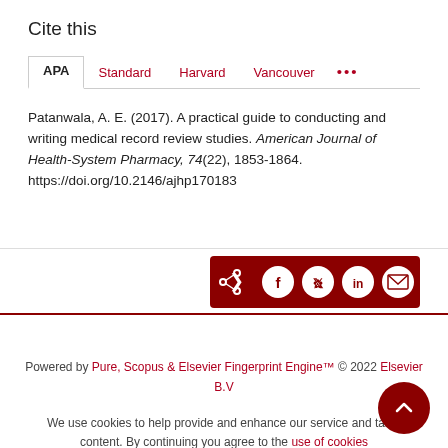Cite this
APA | Standard | Harvard | Vancouver | ...
Patanwala, A. E. (2017). A practical guide to conducting and writing medical record review studies. American Journal of Health-System Pharmacy, 74(22), 1853-1864. https://doi.org/10.2146/ajhp170183
[Figure (other): Social share button bar with share, Facebook, Twitter, LinkedIn, and email icons on dark red background]
Powered by Pure, Scopus & Elsevier Fingerprint Engine™ © 2022 Elsevier B.V
We use cookies to help provide and enhance our service and tailor content. By continuing you agree to the use of cookies